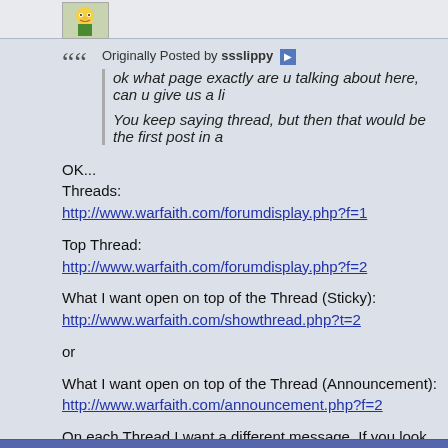[Figure (illustration): Forum post avatar area showing a cartoon character image (Simpsons-style)]
Originally Posted by ssslippy
ok what page exactly are u talking about here, can u give us a li...
You keep saying thread, but then that would be the first post in a...
OK...
Threads:
http://www.warfaith.com/forumdisplay.php?f=1

Top Thread:
http://www.warfaith.com/forumdisplay.php?f=2

What I want open on top of the Thread (Sticky):
http://www.warfaith.com/showthread.php?t=2

or

What I want open on top of the Thread (Announcement):
http://www.warfaith.com/announcement.php?f=2

On each Thread I want a different message. If you look at each of the Th... want to appear open on each Thread.

Thanks.